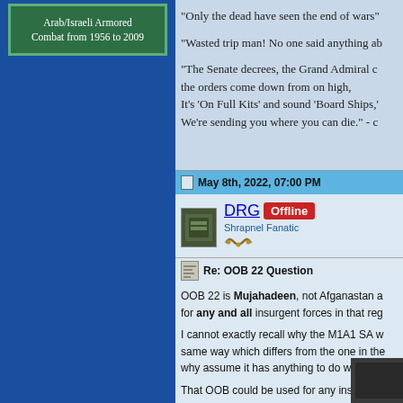[Figure (illustration): Book cover for Arab/Israeli Armored Combat from 1956 to 2009, green background with teal border]
"Only the dead have seen the end of wars"
"Wasted trip man! No one said anything ab
"The Senate decrees, the Grand Admiral c the orders come down from on high, It's 'On Full Kits' and sound 'Board Ships,' We're sending you where you can die." - c
May 8th, 2022, 07:00 PM
DRG  Offline  Shrapnel Fanatic
Re: OOB 22 Question
OOB 22 is Mujahadeen, not Afganastan a for any and all insurgent forces in that reg
I cannot exactly recall why the M1A1 SA w same way which differs from the one in the why assume it has anything to do with Afgh
That OOB could be used for any insurgent
[Figure (photo): Partial image at bottom showing military/combat scene]